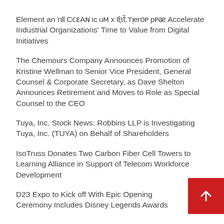Element and II CDSAnnounce Partnership to Accelerate Industrial Organizations' Time to Value from Digital Initiatives
The Chemours Company Announces Promotion of Kristine Wellman to Senior Vice President, General Counsel & Corporate Secretary, as Dave Shelton Announces Retirement and Moves to Role as Special Counsel to the CEO
Tuya, Inc. Stock News: Robbins LLP is Investigating Tuya, Inc. (TUYA) on Behalf of Shareholders
IsoTruss Donates Two Carbon Fiber Cell Towers to Learning Alliance in Support of Telecom Workforce Development
D23 Expo to Kick off With Epic Opening Ceremony Includes Disney Legends Awards